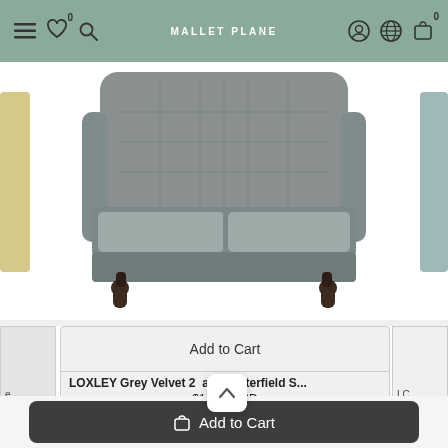[Figure (screenshot): E-commerce website navigation bar with hamburger menu, wishlist (heart with 0 badge), search icon on left; 'MALLET PLANE' brand name centered; user account, globe/language, and shopping bag (with 0 badge) icons on right. Background is sage/muted green.]
[Figure (photo): Grey velvet Chesterfield sofa product image showing the front/center sofa with tufted back and wooden turned legs, on white background. Partial view of other sofas visible on left and right edges.]
Add to Cart
LOXLEY Grey Velvet 2 Seat Chesterfield S...
$1,41... USD
LC
e...
Add to Cart